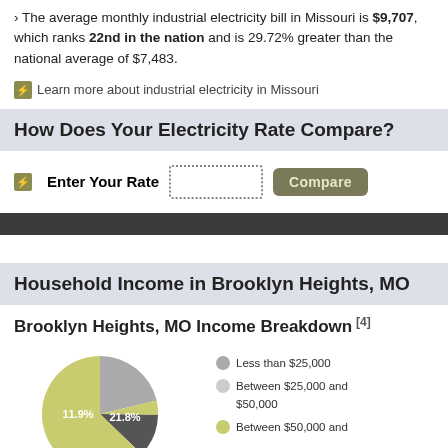The average monthly industrial electricity bill in Missouri is $9,707, which ranks 22nd in the nation and is 29.72% greater than the national average of $7,483.
⚡ Learn more about industrial electricity in Missouri
How Does Your Electricity Rate Compare?
⚡ Enter Your Rate  [input]  Compare
Household Income in Brooklyn Heights, MO
Brooklyn Heights, MO Income Breakdown [4]
[Figure (pie-chart): Brooklyn Heights, MO Income Breakdown]